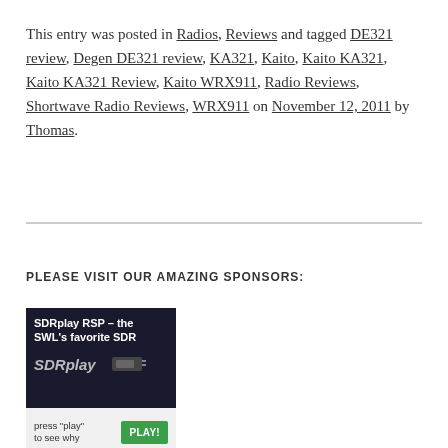This entry was posted in Radios, Reviews and tagged DE321 review, Degen DE321 review, KA321, Kaito, Kaito KA321, Kaito KA321 Review, Kaito WRX911, Radio Reviews, Shortwave Radio Reviews, WRX911 on November 12, 2011 by Thomas.
PLEASE VISIT OUR AMAZING SPONSORS:
[Figure (other): SDRplay RSP advertisement banner with text 'SDRplay RSP – the SWL's favorite SDR', SDRplay logo, device image, and a green PLAY! button with text 'press play to see why']
[Figure (other): Partial advertisement showing a blue grid pattern with a plug/cable icon]